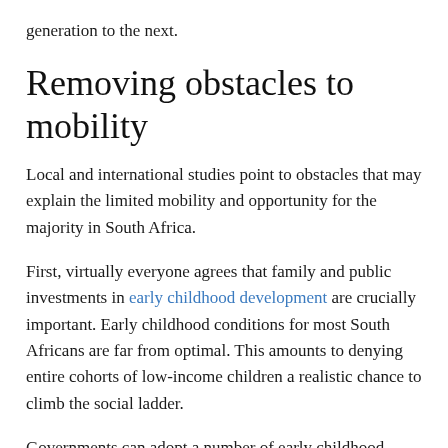generation to the next.
Removing obstacles to mobility
Local and international studies point to obstacles that may explain the limited mobility and opportunity for the majority in South Africa.
First, virtually everyone agrees that family and public investments in early childhood development are crucially important. Early childhood conditions for most South Africans are far from optimal. This amounts to denying entire cohorts of low-income children a realistic chance to climb the social ladder.
Governments can adopt a number of early childhood interventions to remedy inherited social disadvantages.